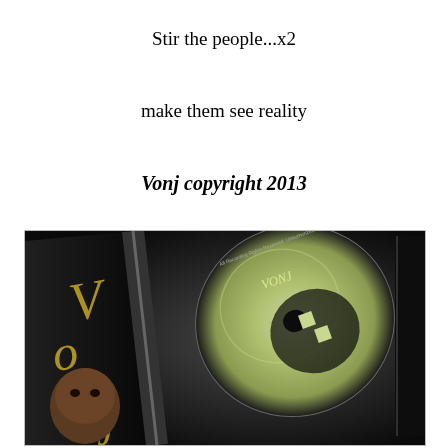Stir the people...x2
make them see reality
Vonj copyright 2013
[Figure (photo): A CD case opened showing a disc with 'VONJ' text on it and black case with gold script lettering, with a person's face partially visible in the lower left of the case.]